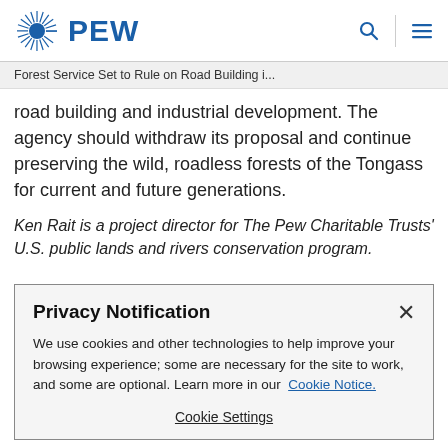PEW
Forest Service Set to Rule on Road Building i...
road building and industrial development. The agency should withdraw its proposal and continue preserving the wild, roadless forests of the Tongass for current and future generations.
Ken Rait is a project director for The Pew Charitable Trusts' U.S. public lands and rivers conservation program.
Privacy Notification
We use cookies and other technologies to help improve your browsing experience; some are necessary for the site to work, and some are optional. Learn more in our Cookie Notice.
Cookie Settings